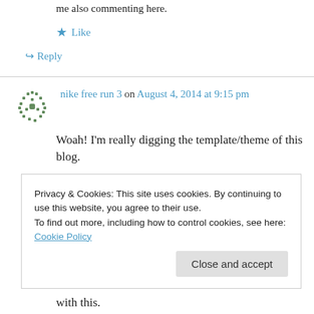me also commenting here.
★ Like
↪ Reply
nike free run 3 on August 4, 2014 at 9:15 pm
Woah! I'm really digging the template/theme of this blog.
Privacy & Cookies: This site uses cookies. By continuing to use this website, you agree to their use. To find out more, including how to control cookies, see here: Cookie Policy
Close and accept
with this.